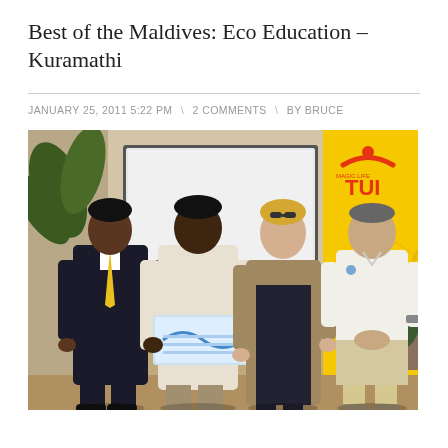Best of the Maldives: Eco Education – Kuramathi
JANUARY 25, 2011 5:22 PM  \ 2 COMMENTS  \ BY BRUCE
[Figure (photo): Four people standing together at an award ceremony. From left: a man in a dark suit with a yellow tie, a man in a white shirt holding a certificate/award, a woman in a black dress with a tan cardigan, and a man in a white polo shirt. Behind them is a presentation screen and a yellow TUI banner logo. The setting appears to be an indoor tropical venue.]